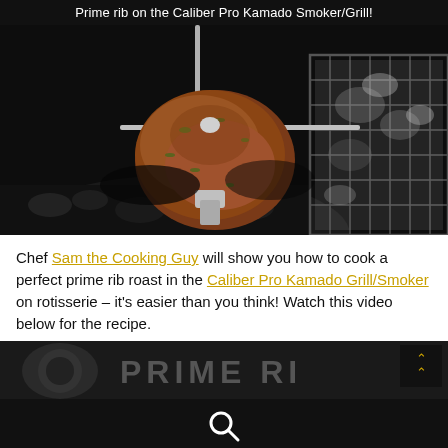Prime rib on the Caliber Pro Kamado Smoker/Grill!
[Figure (photo): A prime rib roast on a rotisserie spit over charcoal in a Kamado grill, with charcoal basket visible on the right side. The meat is browned and herb-crusted.]
Chef Sam the Cooking Guy will show you how to cook a perfect prime rib roast in the Caliber Pro Kamado Grill/Smoker on rotisserie – it's easier than you think! Watch this video below for the recipe.
[Figure (screenshot): Partial video thumbnail showing grilling equipment and large text reading PRIME RIB in dark grey letters on a dark background.]